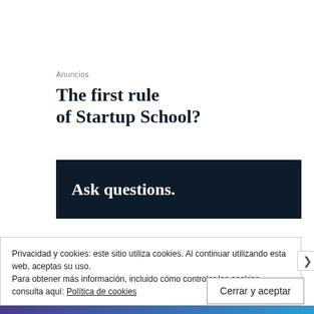Anuncios
The first rule of Startup School?
[Figure (other): Dark navy banner with bold white text reading 'Ask questions.']
Privacidad y cookies: este sitio utiliza cookies. Al continuar utilizando esta web, aceptas su uso.
Para obtener más información, incluido cómo controlar las cookies, consulta aquí: Política de cookies
Cerrar y aceptar